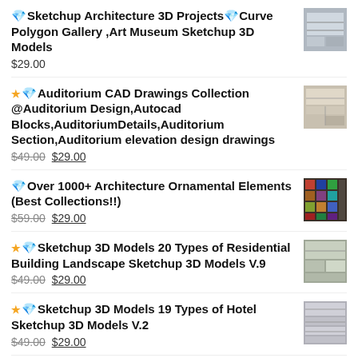💎Sketchup Architecture 3D Projects💎Curve Polygon Gallery ,Art Museum Sketchup 3D Models $29.00
★💎Auditorium CAD Drawings Collection @Auditorium Design,Autocad Blocks,AuditoriumDetails,Auditorium Section,Auditorium elevation design drawings $49.00 $29.00
💎Over 1000+ Architecture Ornamental Elements (Best Collections!!) $59.00 $29.00
★💎Sketchup 3D Models  20 Types of Residential Building Landscape Sketchup 3D Models V.9 $49.00 $29.00
★💎Sketchup 3D Models  19 Types of Hotel Sketchup 3D Models V.2 $49.00 $29.00
💎Sketchup Architecture 3D Projects  20 Types of